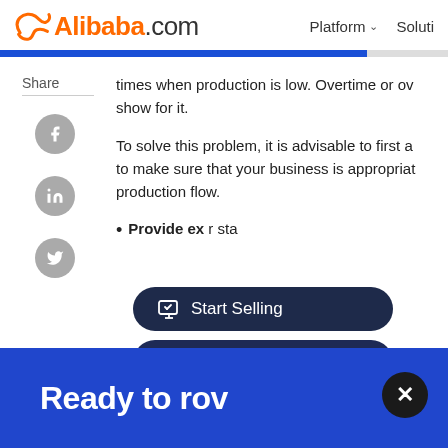Alibaba.com  Platform  Soluti…
times when production is low. Overtime or ov… show for it.
To solve this problem, it is advisable to first a… to make sure that your business is appropriat… production flow.
Provide ex… r sta…
[Figure (screenshot): Start Selling button overlay]
[Figure (screenshot): Customer Service button overlay]
Ready to rov…